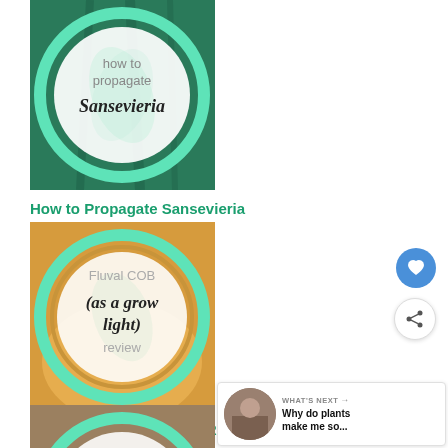[Figure (illustration): Circular badge graphic with teal ring border, showing 'how to propagate Sansevieria' text over a plant background]
How to Propagate Sansevieria
[Figure (illustration): Circular badge graphic with teal ring border, showing 'Fluval COB (as a grow light) review' text over a warm background]
Fluval COB as Grow Light Review
[Figure (illustration): Circular badge graphic with teal ring border, showing 'how often should you water' text over a succulent/pebble background]
WHAT'S NEXT → Why do plants make me so...